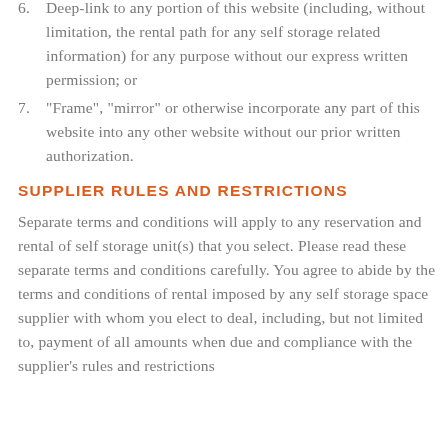6. Deep-link to any portion of this website (including, without limitation, the rental path for any self storage related information) for any purpose without our express written permission; or
7. "Frame", "mirror" or otherwise incorporate any part of this website into any other website without our prior written authorization.
SUPPLIER RULES AND RESTRICTIONS
Separate terms and conditions will apply to any reservation and rental of self storage unit(s) that you select. Please read these separate terms and conditions carefully. You agree to abide by the terms and conditions of rental imposed by any self storage space supplier with whom you elect to deal, including, but not limited to, payment of all amounts when due and compliance with the supplier's rules and restrictions